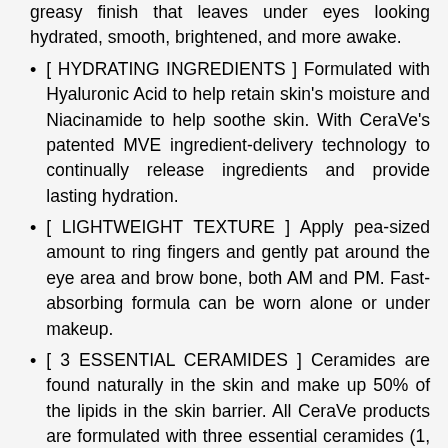greasy finish that leaves under eyes looking hydrated, smooth, brightened, and more awake.
[ HYDRATING INGREDIENTS ] Formulated with Hyaluronic Acid to help retain skin's moisture and Niacinamide to help soothe skin. With CeraVe's patented MVE ingredient-delivery technology to continually release ingredients and provide lasting hydration.
[ LIGHTWEIGHT TEXTURE ] Apply pea-sized amount to ring fingers and gently pat around the eye area and brow bone, both AM and PM. Fast-absorbing formula can be worn alone or under makeup.
[ 3 ESSENTIAL CERAMIDES ] Ceramides are found naturally in the skin and make up 50% of the lipids in the skin barrier. All CeraVe products are formulated with three essential ceramides (1, 3, 6-II) to help restore and maintain the skin's natural barrier